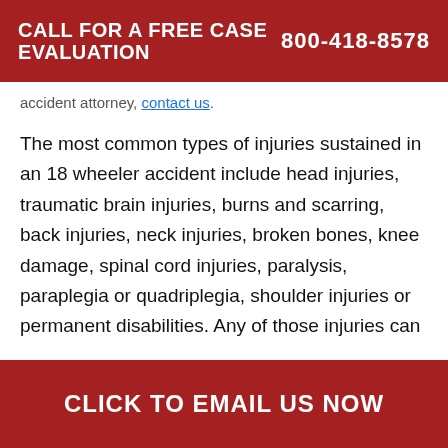CALL FOR A FREE CASE EVALUATION   800-418-8578
accident attorney, contact us.
The most common types of injuries sustained in an 18 wheeler accident include head injuries, traumatic brain injuries, burns and scarring, back injuries, neck injuries, broken bones, knee damage, spinal cord injuries, paralysis, paraplegia or quadriplegia, shoulder injuries or permanent disabilities. Any of those injuries can
CLICK TO EMAIL US NOW